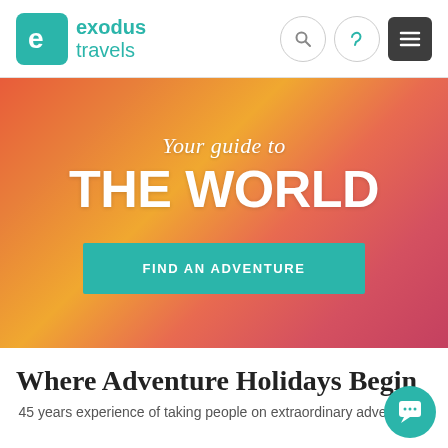[Figure (logo): Exodus Travels logo with teal rounded square icon and teal text]
Your guide to THE WORLD
FIND AN ADVENTURE
Where Adventure Holidays Begin
45 years experience of taking people on extraordinary adventures.